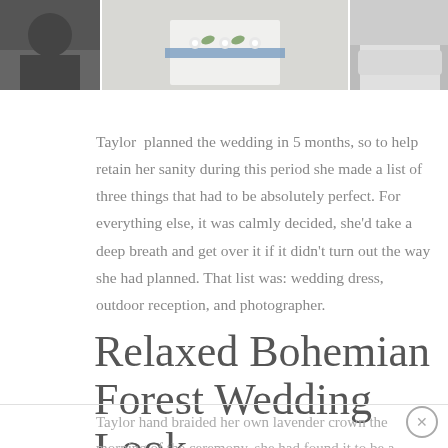[Figure (photo): Wedding photo strip showing three cropped images side by side: left shows a person in dark clothing, center shows a white wedding cake or dress detail with blue ribbon and white flowers, right shows a bride in white dress holding a white fur wrap.]
Taylor  planned the wedding in 5 months, so to help retain her sanity during this period she made a list of three things that had to be absolutely perfect. For everything else, it was calmly decided, she’d take a deep breath and get over it if it didn’t turn out the way she had planned. That list was: wedding dress, outdoor reception, and photographer.
Relaxed Bohemian Forest Wedding Look
Taylor hand braided her own lavender crown the morning of the ceremony, she had found it to be a